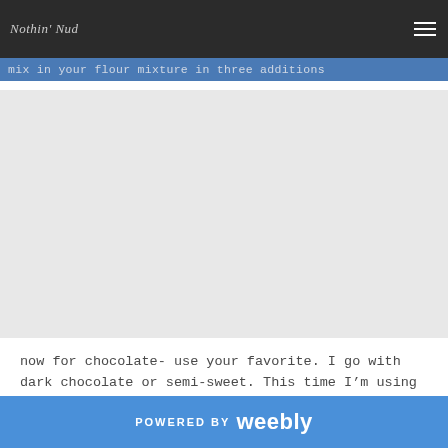Nothin' Nud
mix in your flour mixture in three additions
[Figure (photo): Large image area showing food preparation, currently blank/loading placeholder]
now for chocolate- use your favorite. I go with dark chocolate or semi-sweet. This time I’m using dark. You’ll need two cups
POWERED BY weebly